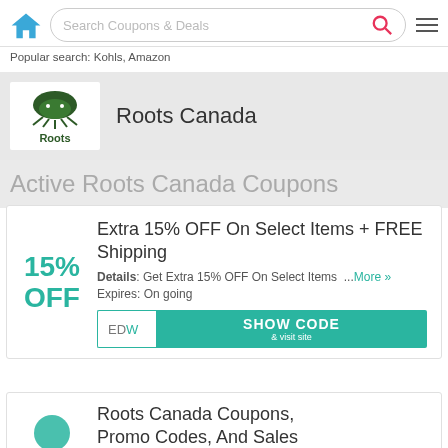Search Coupons & Deals | Popular search: Kohls, Amazon
[Figure (logo): Roots Canada logo - green beaver on tree roots with 'Roots' text]
Roots Canada
Active Roots Canada Coupons
Extra 15% OFF On Select Items + FREE Shipping
Details: Get Extra 15% OFF On Select Items ...More »
Expires: On going
15% OFF | EDW | SHOW CODE & visit site
Roots Canada Coupons, Promo Codes, And Sales